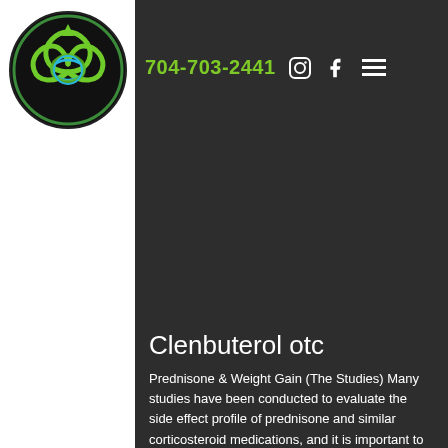[Figure (logo): Celtic trinity knot / triquetra logo with green and blue coloring on black circular background]
704-703-2441
Clenbuterol otc
Prednisone & Weight Gain (The Studies) Many studies have been conducted to evaluate the side effect profile of prednisone and similar corticosteroid medications, and it is important to note that very few of them are based on placebo effects. In fact, of the studies published here, there was not a single study which used prednisone at low